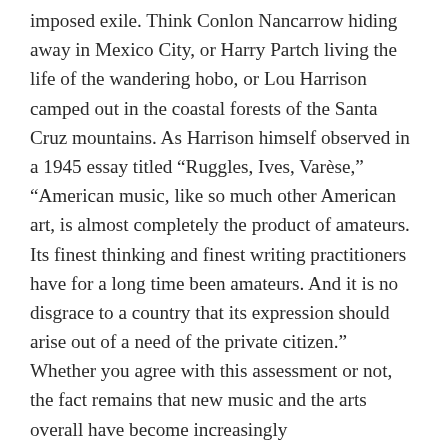imposed exile. Think Conlon Nancarrow hiding away in Mexico City, or Harry Partch living the life of the wandering hobo, or Lou Harrison camped out in the coastal forests of the Santa Cruz mountains. As Harrison himself observed in a 1945 essay titled “Ruggles, Ives, Varèse,” “American music, like so much other American art, is almost completely the product of amateurs. Its finest thinking and finest writing practitioners have for a long time been amateurs. And it is no disgrace to a country that its expression should arise out of a need of the private citizen.” Whether you agree with this assessment or not, the fact remains that new music and the arts overall have become increasingly professionalized in America, to the point where it has become nearly unthinkable that a young composer might forego graduate studies and an eventual Ph.D. and simply go it alone. This is not to disparage academic music or film and theater composers. The problem is that professionalization is becoming the only game in town.